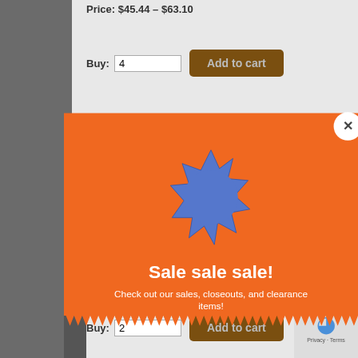Price: $45.44 - $63.10
Buy: 4
[Figure (screenshot): Add to cart button (brown/dark orange)]
[Figure (infographic): Orange popup modal with zigzag bottom edge, blue starburst icon, white close button (X) in top right, text 'Sale sale sale!' and 'Check out our sales, closeouts, and clearance items!']
Sale sale sale!
Check out our sales, closeouts, and clearance items!
Buy: 2
[Figure (screenshot): Add to cart button (brown/dark orange)]